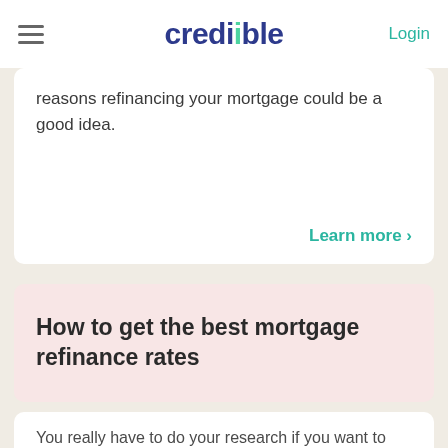credible  Login
reasons refinancing your mortgage could be a good idea.
Learn more >
How to get the best mortgage refinance rates
You really have to do your research if you want to get the best mortgage refinance rate. We'll take some of the